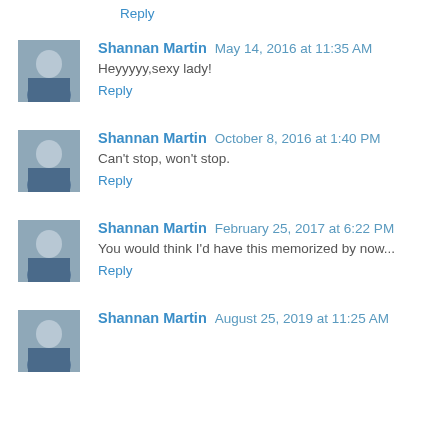Reply
[Figure (photo): Avatar photo of Shannan Martin - woman in blue denim jacket outdoors]
Shannan Martin  May 14, 2016 at 11:35 AM
Heyyyyy,sexy lady!
Reply
[Figure (photo): Avatar photo of Shannan Martin - woman in blue denim jacket outdoors]
Shannan Martin  October 8, 2016 at 1:40 PM
Can't stop, won't stop.
Reply
[Figure (photo): Avatar photo of Shannan Martin - woman in blue denim jacket outdoors]
Shannan Martin  February 25, 2017 at 6:22 PM
You would think I'd have this memorized by now...
Reply
[Figure (photo): Avatar photo of Shannan Martin - woman in blue denim jacket outdoors]
Shannan Martin  August 25, 2019 at 11:25 AM